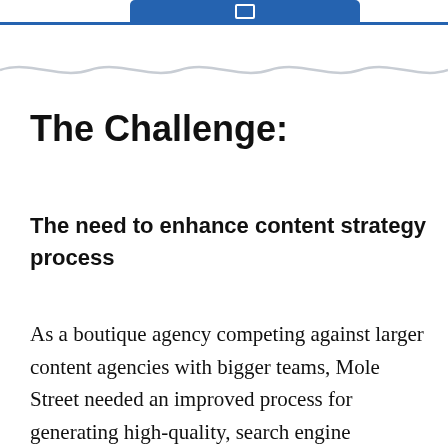The Challenge:
The need to enhance content strategy process
As a boutique agency competing against larger content agencies with bigger teams, Mole Street needed an improved process for generating high-quality, search engine